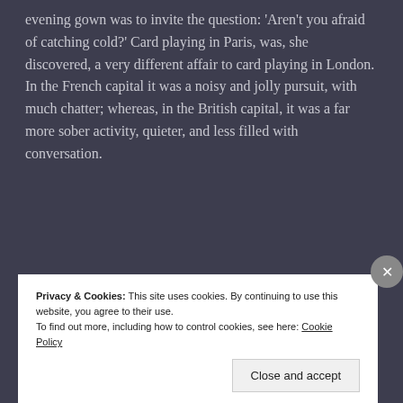evening gown was to invite the question: 'Aren't you afraid of catching cold?' Card playing in Paris, was, she discovered, a very different affair to card playing in London. In the French capital it was a noisy and jolly pursuit, with much chatter; whereas, in the British capital, it was a far more sober activity, quieter, and less filled with conversation.
[Figure (other): Advertisement banner for Pocket Casts with text 'for listeners.' on red background]
Privacy & Cookies: This site uses cookies. By continuing to use this website, you agree to their use.
To find out more, including how to control cookies, see here: Cookie Policy
Close and accept